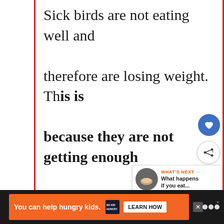Sick birds are not eating well and therefore are losing weight. This is because they are not getting enough nutrients from their diet. In addition, if they are ill, they are unable to eat properly. Therefore, they lose weight.
[Figure (screenshot): Advertisement bar at bottom: orange background with text 'You can help hungry kids.' and NoKidHungry logo with 'LEARN HOW' button]